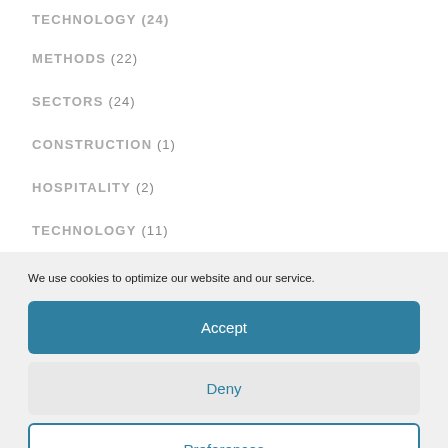TECHNOLOGY (24)
METHODS (22)
SECTORS (24)
CONSTRUCTION (1)
HOSPITALITY (2)
TECHNOLOGY (11)
We use cookies to optimize our website and our service.
Accept
Deny
Preferences
Privacy